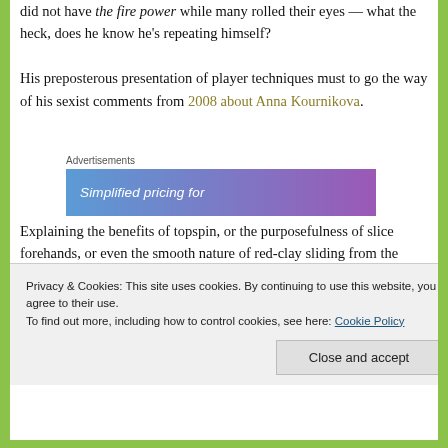did not have the fire power while many rolled their eyes — what the heck, does he know he's repeating himself?
His preposterous presentation of player techniques must to go the way of his sexist comments from 2008 about Anna Kournikova.
[Figure (other): Advertisement banner with gradient blue-purple background showing 'Simplified pricing for' text]
Explaining the benefits of topspin, or the purposefulness of slice forehands, or even the smooth nature of red-clay sliding from the Europeans – as if
Privacy & Cookies: This site uses cookies. By continuing to use this website, you agree to their use.
To find out more, including how to control cookies, see here: Cookie Policy
Close and accept